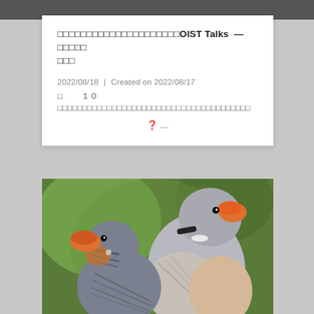□□□□□□□□□□□□□□□□□□□□□OIST Talks — □□□□□□□
2022/08/18 | Created on 2022/08/17
□ 1 0□□□□□□□□□□□□□□□□□□□□□□□□□□□□□□□□□□□□□□□□□
❓ ...
[Figure (photo): Close-up photo of two zebra finches with orange beaks, gray and brown feathers, against a blurred green background]